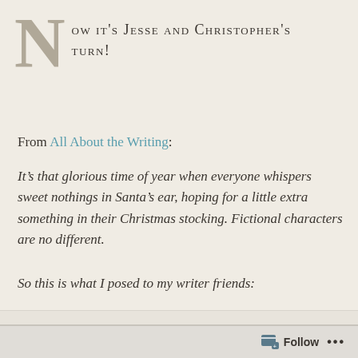Now it's Jesse and Christopher's turn!
From All About the Writing:
It’s that glorious time of year when everyone whispers sweet nothings in Santa’s ear, hoping for a little extra something in their Christmas stocking. Fictional characters are no different.
So this is what I posed to my writer friends:
ONE OF YOUR CHARACTERS IS SITTING
Follow •••